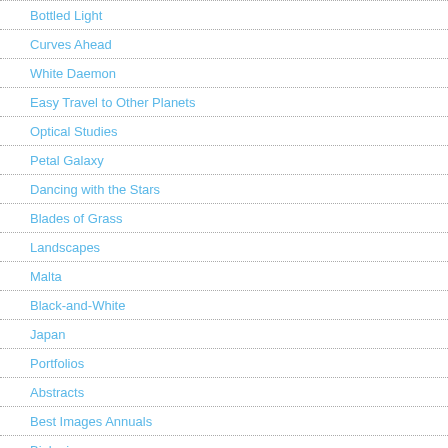Bottled Light
Curves Ahead
White Daemon
Easy Travel to Other Planets
Optical Studies
Petal Galaxy
Dancing with the Stars
Blades of Grass
Landscapes
Malta
Black-and-White
Japan
Portfolios
Abstracts
Best Images Annuals
Biologic
Black & White
Night
Prague Architectural Studies
Impossible